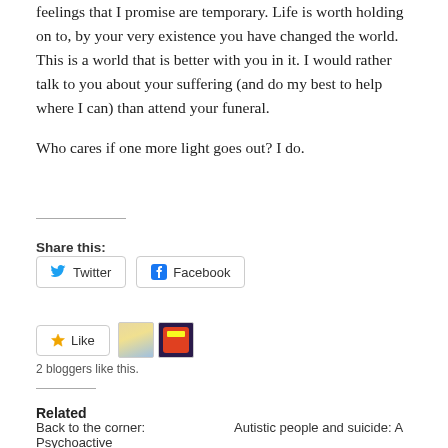feelings that I promise are temporary. Life is worth holding on to, by your very existence you have changed the world. This is a world that is better with you in it. I would rather talk to you about your suffering (and do my best to help where I can) than attend your funeral.
Who cares if one more light goes out? I do.
Share this:
Twitter  Facebook
Like
2 bloggers like this.
Related
Back to the corner: Psychoactive    Autistic people and suicide: A